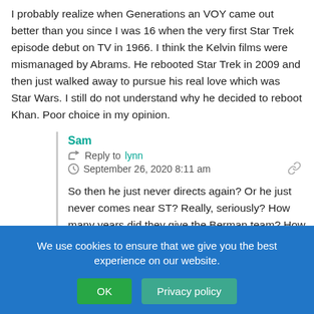I probably realize when Generations an VOY came out better than you since I was 16 when the very first Star Trek episode debut on TV in 1966. I think the Kelvin films were mismanaged by Abrams. He rebooted Star Trek in 2009 and then just walked away to pursue his real love which was Star Wars. I still do not understand why he decided to reboot Khan. Poor choice in my opinion.
Sam
Reply to lynn
September 26, 2020 8:11 am
So then he just never directs again? Or he just never comes near ST? Really, seriously? How many years did they give the Berman team? How many years are they going to give Kurtzman and Goldsman?
We use cookies to ensure that we give you the best experience on our website.
OK
Privacy policy